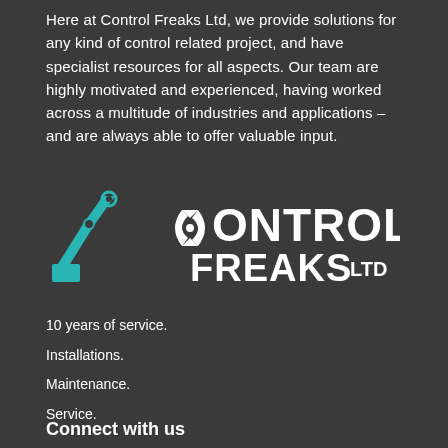Here at Control Freaks Ltd, we provide solutions for any kind of control related project, and have specialist resources for all aspects. Our team are highly motivated and experienced, having worked across a multitude of industries and applications – and are always able to offer valuable input.
[Figure (logo): Control Freaks Ltd logo featuring a teal robotic arm and white text reading CONTROL FREAKS LTD]
10 years of service.
Installations.
Maintenance.
Service.
Connect with us